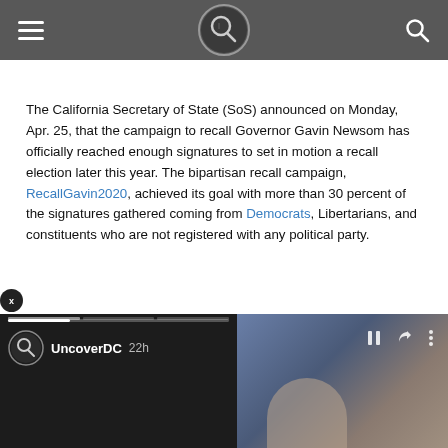UncoverDC navigation header with hamburger menu, logo, and search icon
The California Secretary of State (SoS) announced on Monday, Apr. 25, that the campaign to recall Governor Gavin Newsom has officially reached enough signatures to set in motion a recall election later this year. The bipartisan recall campaign, RecallGavin2020, achieved its goal with more than 30 percent of the signatures gathered coming from Democrats, Libertarians, and constituents who are not registered with any political party.
[Figure (screenshot): Video player overlay showing UncoverDC logo and channel name with timestamp '22h', progress bar at top, and video controls (pause, share, more) on right. Left panel shows dark video content, right panel shows photo of a person in front of American flag.]